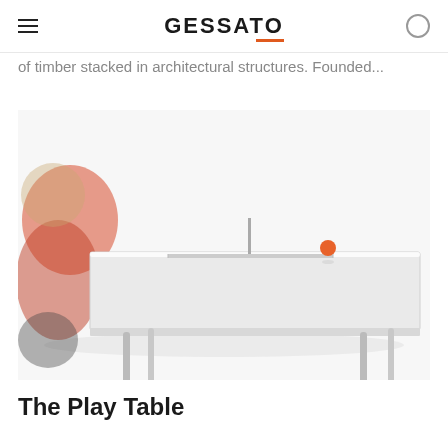GESSATO
of timber stacked in architectural structures. Founded...
[Figure (photo): A modern minimalist ping pong / play table with a white surface, chrome legs with wheels/casters, a small net divider in the center, and an orange ping pong ball resting on the surface. A blurred figure in red is visible on the left side.]
The Play Table